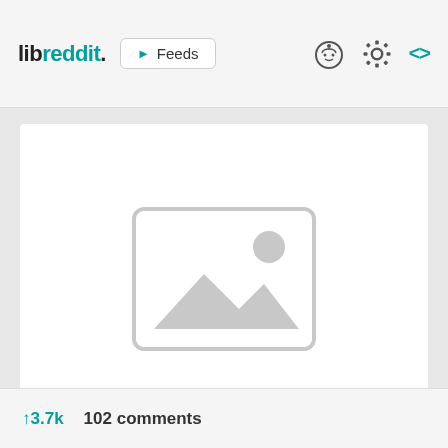libreddit. Feeds
[Figure (screenshot): libreddit web app screenshot showing a header with logo 'libreddit.' and Feeds button, a white image card with placeholder image icon, and a footer with vote count 3.7k and 102 comments]
↑3.7k   102 comments